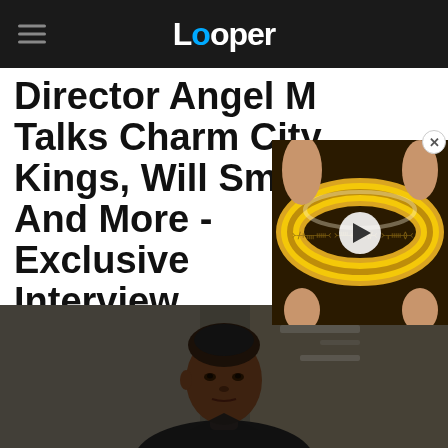Looper
Director Angel M Talks Charm City Kings, Will Smith, And More - Exclusive Interview
[Figure (screenshot): Video thumbnail overlay showing a golden ring (One Ring from Lord of the Rings) with elvish script, with a white play button in the center and a close (X) button in the top right corner]
[Figure (photo): Photo of a young Black person with hair pulled back, wearing dark clothing, looking slightly to the side, in what appears to be an urban or workshop setting]